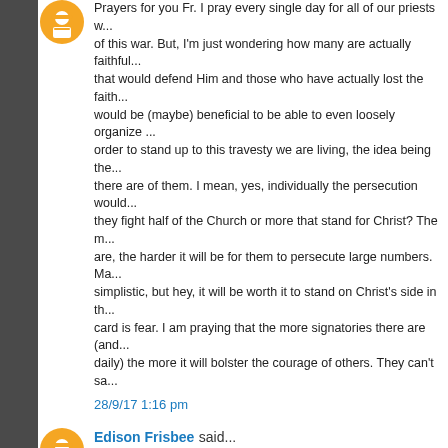Prayers for you Fr. I pray every single day for all of our priests who... of this war. But, I'm just wondering how many are actually faithful... that would defend Him and those who have actually lost the faith... would be (maybe) beneficial to be able to even loosely organize... order to stand up to this travesty we are living, the idea being the... there are of them. I mean, yes, individually the persecution would... they fight half of the Church or more that stand for Christ? The m... are, the harder it will be for them to persecute large numbers. Ma... simplistic, but hey, it will be worth it to stand on Christ's side in th... card is fear. I am praying that the more signatories there are (and... daily) the more it will bolster the courage of others. They can't sa...
28/9/17 1:16 pm
Edison Frisbee said...
Careerist first, priest second....good to know. There's a reason th... Great Clarifier"
28/9/17 2:00 pm
Tom W said...
We all stand alone before God for our final Judgment. Let that be...
28/9/17 2:06 pm
Sixupman said...